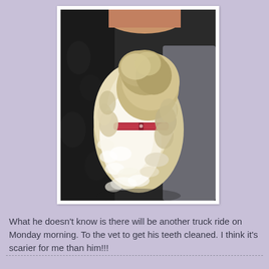[Figure (photo): A fluffy white/golden dog with a red collar sitting on a person's lap, viewed from behind. The dog has curly, shaggy fur. Background shows dark floral fabric on the left and grey upholstery on the right.]
What he doesn't know is there will be another truck ride on Monday morning.  To the vet to get his teeth cleaned.  I think it's scarier for me than him!!!